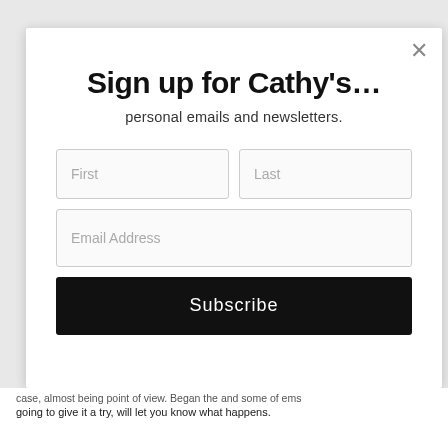Sign up for Cathy's…
personal emails and newsletters.
[Figure (screenshot): Email signup form with First, Last, and Email Address input fields and a Subscribe button]
going to give it a try, will let you know what happens.